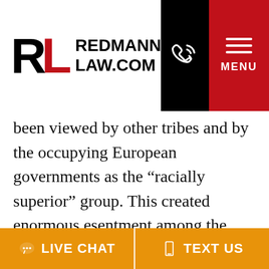[Figure (logo): Redmann Law.com logo with RL initials in black and red, phone icon on black background, and MENU label on red background]
been viewed by other tribes and by the occupying European governments as the “racially superior” group. This created enormous esentment among the Hutus.

After its loss in World War I, Germany was forced to give up its rights to Rwanda, ceding control to Belgium. Belgium instituted a policy requiring every Rwandan citizen to carry paperwork identifying his or her ethnicity (Hutu or Tutsi), which further strengthened
LIVE CHAT    TEXT US